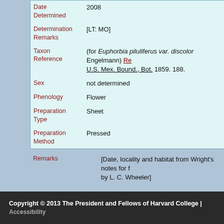| Field | Value |
| --- | --- |
| Date Determined | 2008 |
| Determination Remarks | [LT: MO] |
| Taxon Reference | (for Euphorbia piluliferus var. discolor Engelmann) Re... U.S. Mex. Bound., Bot. 1859. 188. |
| Sex | not determined |
| Phenology | Flower |
| Preparation Type | Sheet |
| Preparation Method | Pressed |
Remarks: [Date, locality and habitat from Wright's notes for f... by L. C. Wheeler]
Copyright © 2013 The President and Fellows of Harvard College | Accessibility